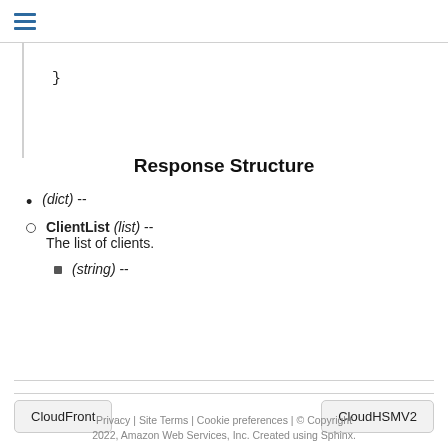(hamburger menu icon)
}
Response Structure
(dict) --
ClientList (list) -- The list of clients.
(string) --
CloudFront
CloudHSMV2
Privacy | Site Terms | Cookie preferences | © Copyright 2022, Amazon Web Services, Inc. Created using Sphinx.